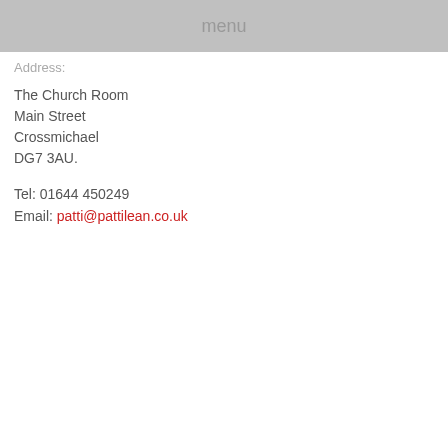menu
Address:
The Church Room
Main Street
Crossmichael
DG7 3AU.
Tel: 01644 450249
Email: patti@pattilean.co.uk